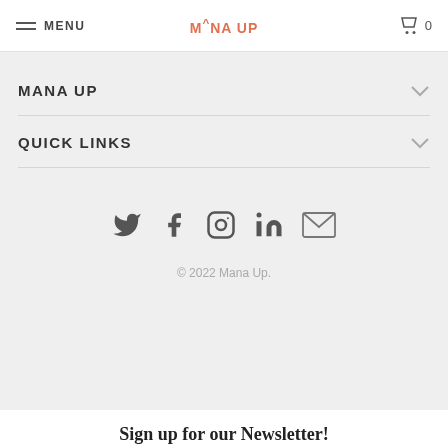MENU  M^NA UP  0
MANA UP
QUICK LINKS
[Figure (other): Social media icons: Twitter, Facebook, Instagram, LinkedIn, Email]
© 2022 Mana Up.
Sign up for our Newsletter!
Enter your info to stay up-to-date on all things Mana Up from our accelerator program, cohort companies, and community workshops.